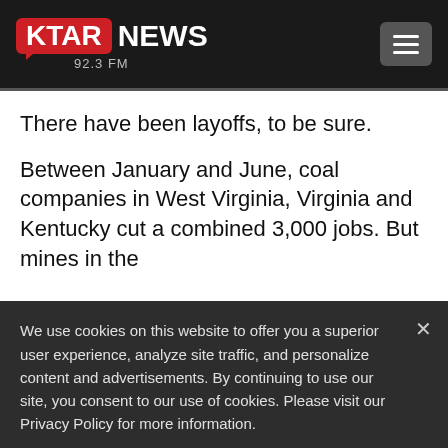[Figure (logo): KTAR NEWS 92.3 FM logo on black header bar with hamburger menu button]
There have been layoffs, to be sure.
Between January and June, coal companies in West Virginia, Virginia and Kentucky cut a combined 3,000 jobs. But mines in the
We use cookies on this website to offer you a superior user experience, analyze site traffic, and personalize content and advertisements. By continuing to use our site, you consent to our use of cookies. Please visit our Privacy Policy for more information.
Accept Cookies